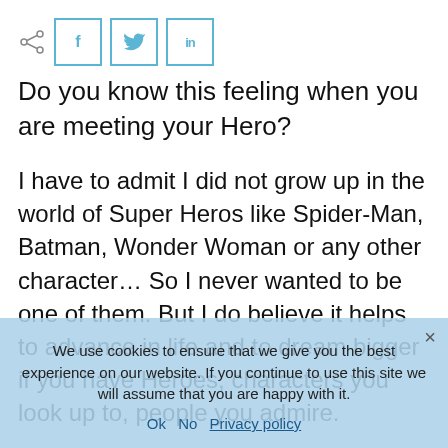[Figure (other): Share bar with share icon and social media buttons for Facebook (f), Twitter (bird), and LinkedIn (in)]
Do you know this feeling when you are meeting your Hero?
I have to admit I did not grow up in the world of Super Heros like Spider-Man, Batman, Wonder Woman or any other character… So I never wanted to be one of them. But I do believe it helps to advance in life and to dream bigger if you have Heroes, characters you look up to, people you admire.
I was already working in sales and I was looking for a way to have a more meaningful life, wanting to fill the emotional void of my activities. What I never done before and I started buying and reading books in the self-development field where I found my Super
We use cookies to ensure that we give you the best experience on our website. If you continue to use this site we will assume that you are happy with it.
Ok   No   Privacy policy